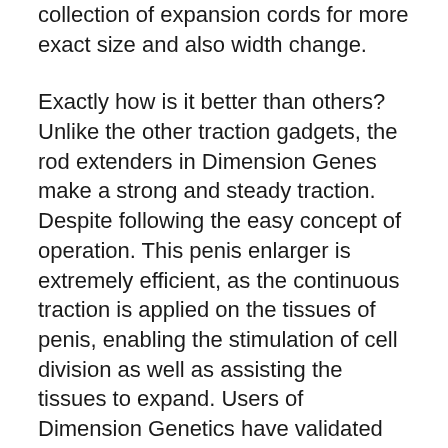collection of expansion cords for more exact size and also width change.
Exactly how is it better than others? Unlike the other traction gadgets, the rod extenders in Dimension Genes make a strong and steady traction. Despite following the easy concept of operation. This penis enlarger is extremely efficient, as the continuous traction is applied on the tissues of penis, enabling the stimulation of cell division as well as assisting the tissues to expand. Users of Dimension Genetics have validated the outstanding restorative effects. They have actually likewise validated that it not only enhances the size and girth but likewise modifies the curvature of your penis. Male that believe their penises are tiny are